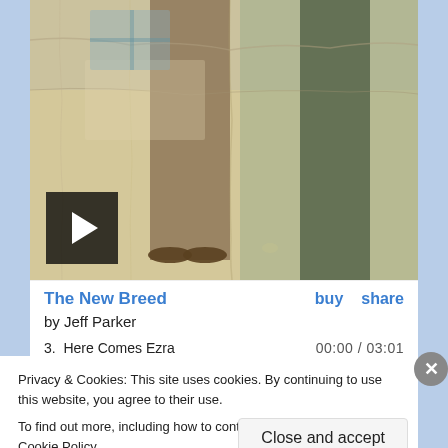[Figure (photo): Vintage faded photograph showing two people standing, viewed from waist down, with crinkled texture. A black play button overlay is in the bottom-left corner.]
The New Breed
buy   share
by Jeff Parker
3.  Here Comes Ezra
00:00 / 03:01
Privacy & Cookies: This site uses cookies. By continuing to use this website, you agree to their use.
To find out more, including how to control cookies, see here: Cookie Policy
Close and accept